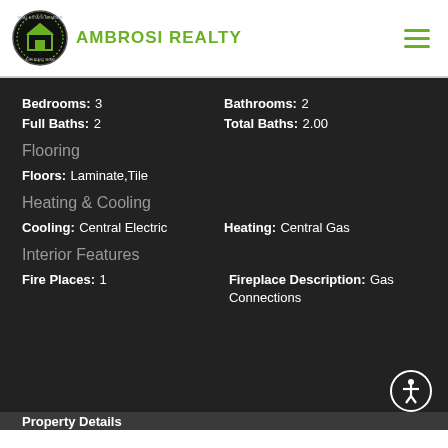AMBROSI REALTY
Bedrooms: 3   Bathrooms: 2   Full Baths: 2   Total Baths: 2.00
Flooring
Floors: Laminate,Tile
Heating & Cooling
Cooling: Central Electric   Heating: Central Gas
Interior Features
Fire Places: 1   Fireplace Description: Gas Connections
Property Details